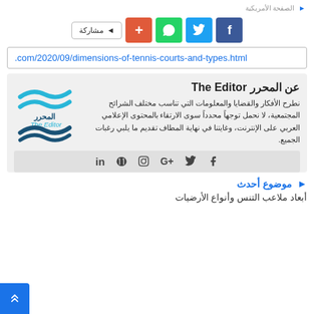الصفحة الأمريكية
[Figure (screenshot): Share buttons row: مشاركة label, plus (+), WhatsApp, Twitter, Facebook icon buttons]
.com/2020/09/dimensions-of-tennis-courts-and-types.html
[Figure (infographic): About The Editor box with Arabic text and logo. Title: عن المحرر The Editor. Body text about the publication. Logo of The Editor with wave design. Social media icons: LinkedIn, Pinterest, Instagram, Google+, Twitter, Facebook]
موضوع أحدث
أبعاد ملاعب التنس وأنواع الأرضيات